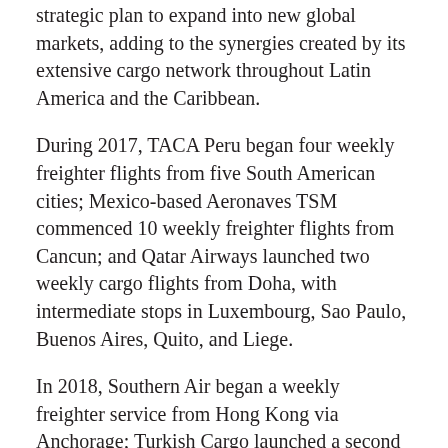strategic plan to expand into new global markets, adding to the synergies created by its extensive cargo network throughout Latin America and the Caribbean.
During 2017, TACA Peru began four weekly freighter flights from five South American cities; Mexico-based Aeronaves TSM commenced 10 weekly freighter flights from Cancun; and Qatar Airways launched two weekly cargo flights from Doha, with intermediate stops in Luxembourg, Sao Paulo, Buenos Aires, Quito, and Liege.
In 2018, Southern Air began a weekly freighter service from Hong Kong via Anchorage; Turkish Cargo launched a second weekly frequency from Istanbul; and Polar Air Cargo launched direct Tokyo freighter service.
In 2017, MIA secured its best year ever for freight tonnage, with over 2.2 million tonnes moving through the airport.